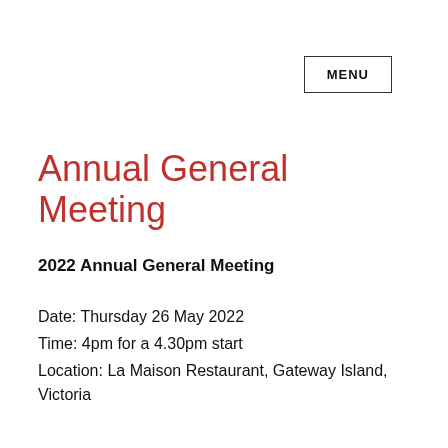MENU
Annual General Meeting
2022 Annual General Meeting
Date: Thursday 26 May 2022
Time: 4pm for a 4.30pm start
Location: La Maison Restaurant, Gateway Island, Victoria